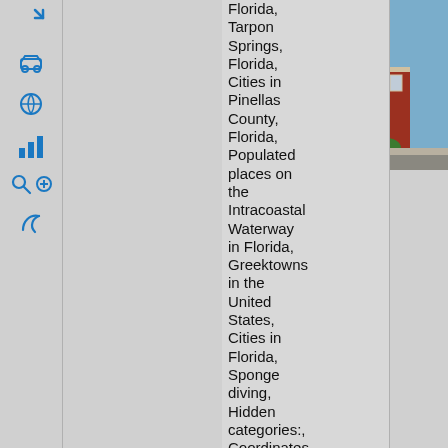[Figure (photo): Photograph of a red brick building in Tarpon Springs, Florida, viewed from street level. Two-story brick structure with white trim, arched window above entrance, and shrubs in front.]
Florida, Tarpon Springs, Florida, Cities in Pinellas County, Florida, Populated places on the Intracoastal Waterway in Florida, Greektowns in the United States, Cities in Florida, Sponge diving, Hidden categories:, Coordinates on Wikidata, Commons category with local link same